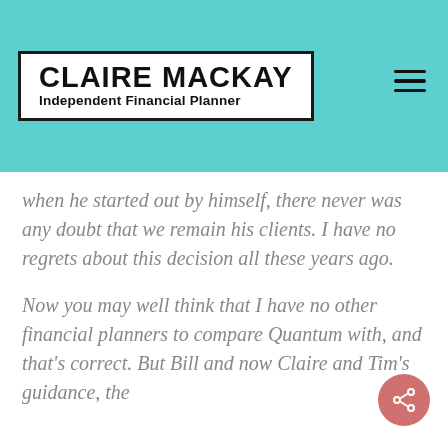CLAIRE MACKAY Independent Financial Planner
when he started out by himself, there never was any doubt that we remain his clients. I have no regrets about this decision all these years ago.
Now you may well think that I have no other financial planners to compare Quantum with, and that's correct. But Bill and now Claire and Tim's guidance, the